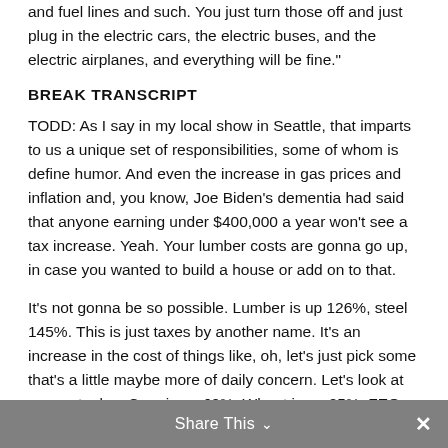and fuel lines and such. You just turn those off and just plug in the electric cars, the electric buses, and the electric airplanes, and everything will be fine."
BREAK TRANSCRIPT
TODD: As I say in my local show in Seattle, that imparts to us a unique set of responsibilities, some of whom is define humor. And even the increase in gas prices and inflation and, you know, Joe Biden's dementia had said that anyone earning under $400,000 a year won't see a tax increase. Yeah. Your lumber costs are gonna go up, in case you wanted to build a house or add on to that.
It's not gonna be so possible. Lumber is up 126%, steel 145%. This is just taxes by another name. It's an increase in the cost of things like, oh, let's just pick some that's a little maybe more of daily concern. Let's look at some staples. Corn is up 69%. Wheat is up 25%. FEO Food Index is up 25%. Oh, but hourly wages are up... Well, 5%.
And that would be indicative of the fact that there's a
Share This ∨  ✕